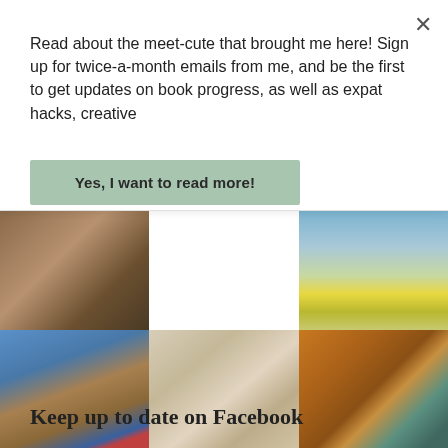Read about the meet-cute that brought me here! Sign up for twice-a-month emails from me, and be the first to get updates on book progress, as well as expat hacks, creative
Yes, I want to read more!
[Figure (photo): Ice cream cone photo]
[Figure (photo): Landscape with yellow fields and hills]
[Figure (photo): Building with French flags]
[Figure (photo): Wrapped statue or object on table]
[Figure (photo): Bookshop interior with shelves]
Keep up to date on Facebook